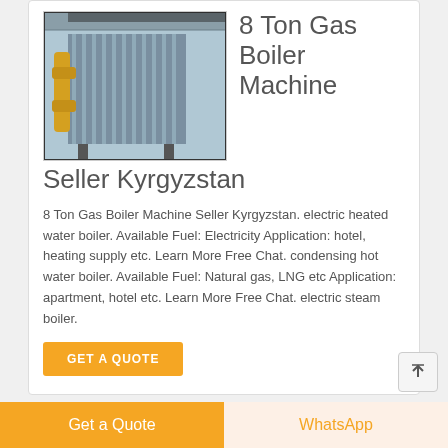[Figure (photo): Industrial gas boiler machine with yellow pipes in a factory setting]
8 Ton Gas Boiler Machine Seller Kyrgyzstan
8 Ton Gas Boiler Machine Seller Kyrgyzstan. electric heated water boiler. Available Fuel: Electricity Application: hotel, heating supply etc. Learn More Free Chat. condensing hot water boiler. Available Fuel: Natural gas, LNG etc Application: apartment, hotel etc. Learn More Free Chat. electric steam boiler.
GET A QUOTE
[Figure (photo): Partial view of another boiler product listing image]
Get a Quote   WhatsApp